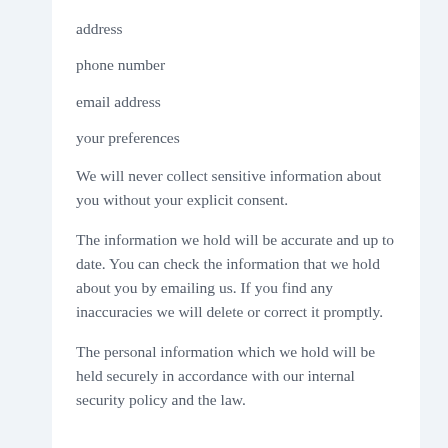address
phone number
email address
your preferences
We will never collect sensitive information about you without your explicit consent.
The information we hold will be accurate and up to date. You can check the information that we hold about you by emailing us. If you find any inaccuracies we will delete or correct it promptly.
The personal information which we hold will be held securely in accordance with our internal security policy and the law.
Cookies and how they Benefit You
Our website uses cookies, as almost all websites do, to help provide you with the best experience we can. Cookies are